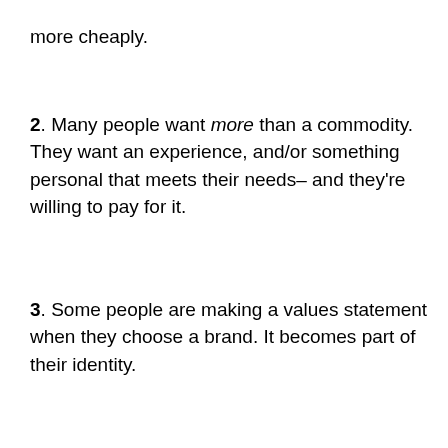more cheaply.
2. Many people want more than a commodity. They want an experience, and/or something personal that meets their needs– and they're willing to pay for it.
3. Some people are making a values statement when they choose a brand. It becomes part of their identity.
4. Brands succeed when they make people feel good, and help them live out their own stories (how they see themselves, their hopes and dreams)
5. Brands don't succeed by being louder, more intrusive,